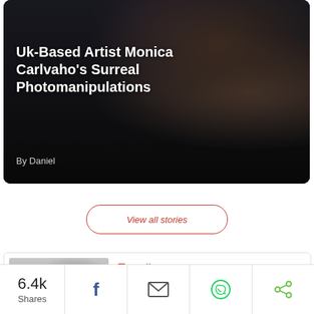[Figure (photo): Dark moody photo of a person lying down, used as background for article card about Monica Carlvaho's surreal photomanipulations]
Uk-Based Artist Monica Carlvaho's Surreal Photomanipulations
By Daniel
View all stories
[Figure (photo): Black and white graphite drawing of strange tree-like bony creatures in alien landscapes]
Trending
Graphite Drawings Of Strange Tree-Like Bony Creatures Existing In Alien Landscapes
6.4k
Shares